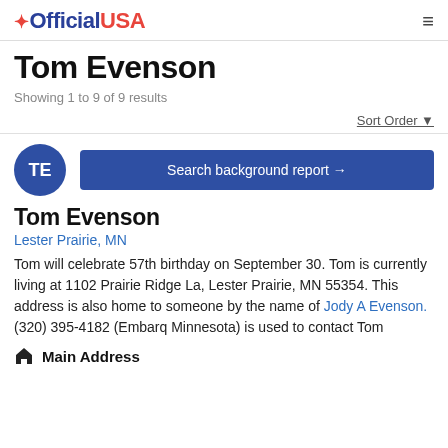OfficialUSA
Tom Evenson
Showing 1 to 9 of 9 results
Sort Order ▼
TE
Search background report →
Tom Evenson
Lester Prairie, MN
Tom will celebrate 57th birthday on September 30. Tom is currently living at 1102 Prairie Ridge La, Lester Prairie, MN 55354. This address is also home to someone by the name of Jody A Evenson. (320) 395-4182 (Embarq Minnesota) is used to contact Tom
Main Address